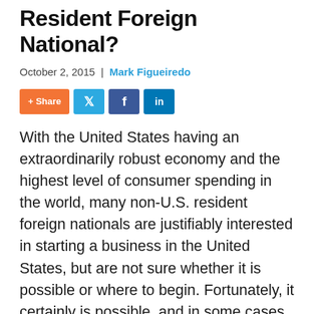Resident Foreign National?
October 2, 2015  |  Mark Figueiredo
[Figure (other): Social sharing buttons: + Share, Twitter, Facebook, LinkedIn]
With the United States having an extraordinarily robust economy and the highest level of consumer spending in the world, many non-U.S. resident foreign nationals are justifiably interested in starting a business in the United States, but are not sure whether it is possible or where to begin. Fortunately, it certainly is possible, and in some cases, may even be accomplished without setting foot within the U.S. Below are some of the steps required for a foreign national who is not a U.S. resident to start a business.